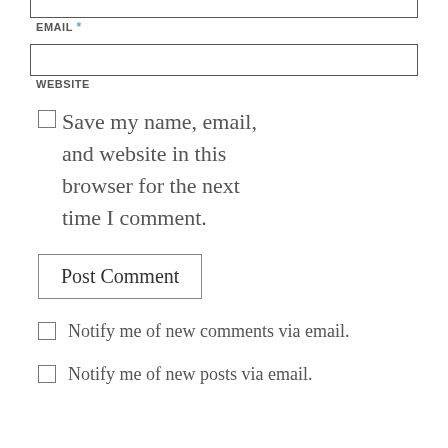EMAIL *
WEBSITE
Save my name, email, and website in this browser for the next time I comment.
Post Comment
Notify me of new comments via email.
Notify me of new posts via email.